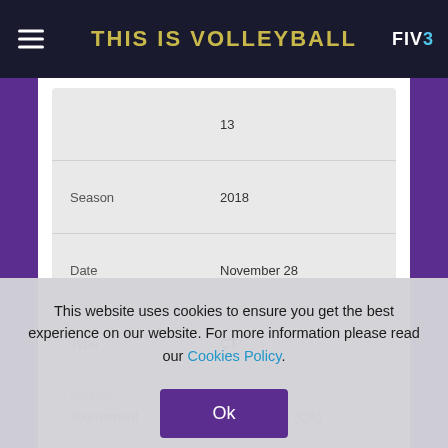THIS IS VOLLEYBALL
| Field | Value |
| --- | --- |
|  | 13 |
| Season | 2018 |
| Date | November 28 |
| Type | CT |
| Tournament | Doha, Qatar (QA) |
This website uses cookies to ensure you get the best experience on our website. For more information please read our Cookies Policy.
Ok